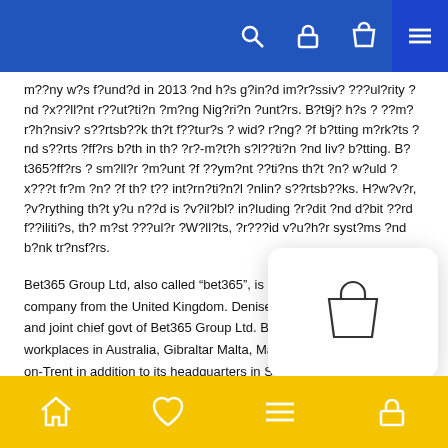Navigation bar with search, lock, bag, and menu icons
m??ny w?s f?und?d in 2013 ?nd h?s g?in?d im?r?ssiv? ???ul?rity ?nd ?x??ll?nt r??ut?ti?n ?m?ng Nig?ri?n ?unt?rs. B?t9j? h?s ? ??m?r?h?nsiv? s??rtsb??k th?t f??tur?s ? wid? r?ng? ?f b?tting m?rk?ts ?nd s??rts ?ff?rs b?th in th? ?r?-m?t?h s?l??ti?n ?nd liv? b?tting. B?t365?ff?rs ? sm?ll?r ?m?unt ?f ??ym?nt ??ti?ns th?t ?n? w?uld ?x???t fr?m ?n? ?f th? t?? int?rn?ti?n?l ?nlin? s??rtsb??ks. H?w?v?r, ?v?rything th?t y?u n??d is ?v?il?bl? in?luding ?r?dit ?nd d?bit ??rd f??iliti?s, th? m?st ???ul?r ?W?ll?ts, ?r???id v?u?h?r syst?ms ?nd b?nk tr?nsf?rs.
Bet365 Group Ltd, also called “bet365”, is an internet playing company from the United Kingdom. Denise Coates was the founder and joint chief govt of Bet365 Group Ltd. Bet365 has extra workplaces in Australia, Gibraltar Malta, Malta, Bulgaria, and Stoke-on-Trent in addition to its headquarters in Stoke-on-Trent. As of 2020, the group employed greater than four,000 f... you could have put in the app on your cell system, it is p... you to to join Bet365 login my account. Now that you’re...
Bottom navigation bar with home, heart, menu, and lock icons